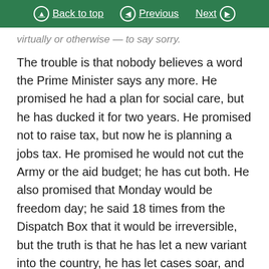Back to top | Previous | Next
virtually or otherwise — to say sorry.
The trouble is that nobody believes a word the Prime Minister says any more. He promised he had a plan for social care, but he has ducked it for two years. He promised not to raise tax, but now he is planning a jobs tax. He promised he would not cut the Army or the aid budget; he has cut both. He also promised that Monday would be freedom day; he said 18 times from the Dispatch Box that it would be irreversible, but the truth is that he has let a new variant into the country, he has let cases soar, and he has left us with the highest death toll in Europe and one of the worst-hit economies of any major economy. Last week a million kids were off school, businesses are closing, and millions will spend their summer self-isolating. But do not worry. Mr Speaker, the Prime